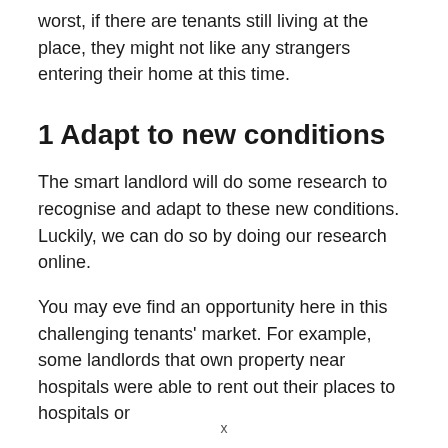worst, if there are tenants still living at the place, they might not like any strangers entering their home at this time.
1 Adapt to new conditions
The smart landlord will do some research to recognise and adapt to these new conditions. Luckily, we can do so by doing our research online.
You may eve find an opportunity here in this challenging tenants' market. For example, some landlords that own property near hospitals were able to rent out their places to hospitals or
x